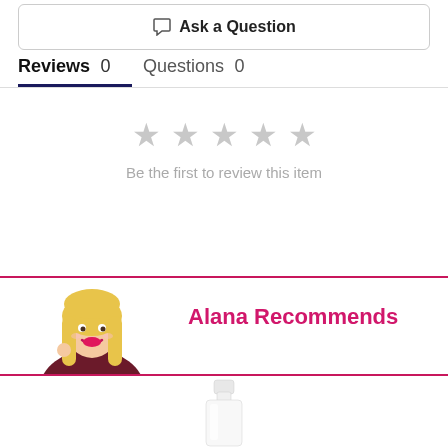Ask a Question
Reviews 0    Questions 0
[Figure (other): Five empty gray star rating icons indicating no reviews yet]
Be the first to review this item
[Figure (photo): Photo of Alana, a blonde woman smiling, with text 'Alana Recommends' in pink]
[Figure (photo): White cosmetic bottle/product partially visible at bottom of page]